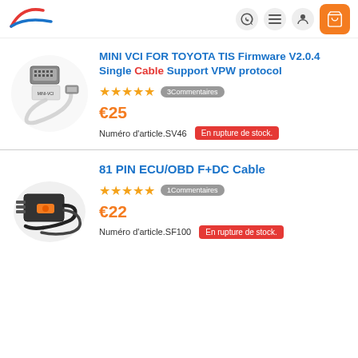Navigation header with logo and icons
[Figure (photo): MINI VCI FOR TOYOTA cable product image - transparent cable with connector]
MINI VCI FOR TOYOTA TIS Firmware V2.0.4 Single Cable Support VPW protocol
★★★★★ 3Commentaires
€25
Numéro d'article.SV46   En rupture de stock.
[Figure (photo): 81 PIN ECU/OBD F+DC Cable product image - black cable with connector]
81 PIN ECU/OBD F+DC Cable
★★★★★ 1Commentaires
€22
Numéro d'article.SF100   En rupture de stock.